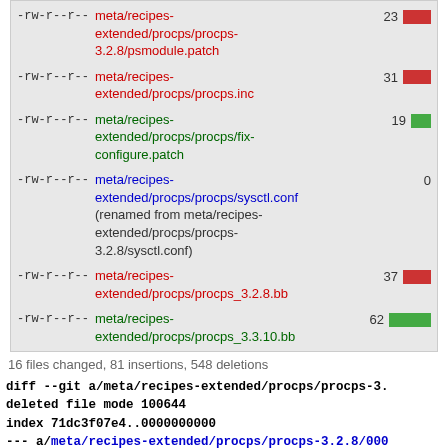| permissions | file | stat | bar |
| --- | --- | --- | --- |
| -rw-r--r-- | meta/recipes-extended/procps/procps-3.2.8/psmodule.patch | 23 | red |
| -rw-r--r-- | meta/recipes-extended/procps/procps.inc | 31 | red |
| -rw-r--r-- | meta/recipes-extended/procps/procps/fix-configure.patch | 19 | green |
| -rw-r--r-- | meta/recipes-extended/procps/procps/sysctl.conf (renamed from meta/recipes-extended/procps/procps-3.2.8/sysctl.conf) | 0 | none |
| -rw-r--r-- | meta/recipes-extended/procps/procps_3.2.8.bb | 37 | red |
| -rw-r--r-- | meta/recipes-extended/procps/procps_3.3.10.bb | 62 | green |
16 files changed, 81 insertions, 548 deletions
diff --git a/meta/recipes-extended/procps/procps-3.
deleted file mode 100644
index 71dc3f07e4..0000000000
--- a/meta/recipes-extended/procps/procps-3.2.8/000
+++ /dev/null
@@ -1,29 +0,0 @@
-From 6f2fd55ef7621fd7ab7897aee2c2651b6faf9e6a Mon
-From: Paul Barker <paul@paulbarker.me.uk>
-Date: Wed, 20 Aug 2014 11:56:11 +0200
-Subject: [PATCH] Fix musl build failure